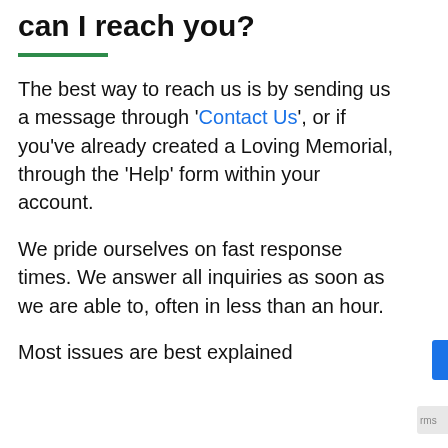If still have questions, how can I reach you?
The best way to reach us is by sending us a message through 'Contact Us', or if you've already created a Loving Memorial, through the 'Help' form within your account.
We pride ourselves on fast response times. We answer all inquiries as soon as we are able to, often in less than an hour.
Most issues are best explained